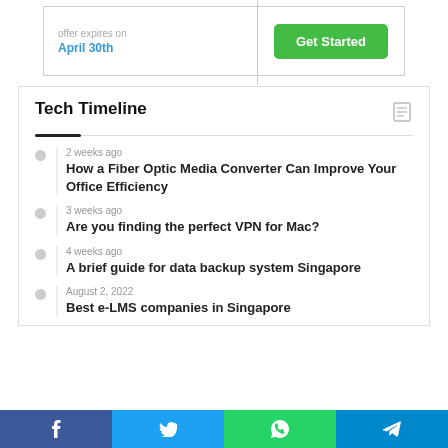[Figure (infographic): Ad banner with 'offer expires on April 30th' text and green 'Get Started' button]
Tech Timeline
2 weeks ago — How a Fiber Optic Media Converter Can Improve Your Office Efficiency
3 weeks ago — Are you finding the perfect VPN for Mac?
4 weeks ago — A brief guide for data backup system Singapore
August 2, 2022 — Best e-LMS companies in Singapore
Social share bar: Facebook, Twitter, WhatsApp, Telegram